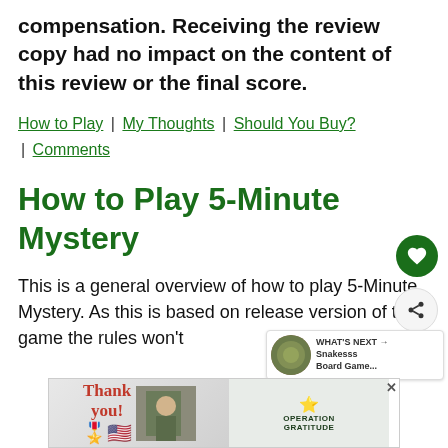compensation. Receiving the review copy had no impact on the content of this review or the final score.
How to Play | My Thoughts | Should You Buy? | Comments
How to Play 5-Minute Mystery
This is a general overview of how to play 5-Minute Mystery. As this is based on release version of the game the rules won't be...
[Figure (other): WHAT'S NEXT arrow promo box with circular image thumbnail for Snakesss Board Game]
[Figure (other): Advertisement banner for Operation Gratitude with Thank You text and military imagery]